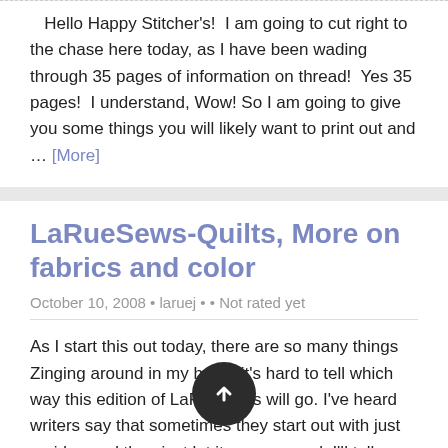Hello Happy Stitcher's!  I am going to cut right to the chase here today, as I have been wading through 35 pages of information on thread!  Yes 35 pages!  I understand, Wow! So I am going to give you some things you will likely want to print out and … [More]
LaRueSews-Quilts, More on fabrics and color
October 10, 2008 • laruej • • Not rated yet
As I start this out today, there are so many things Zinging around in my head, it's hard to tell which way this edition of LaRueSews will go. I've heard writers say that sometimes they start out with just an idea and then just let it rol... k I'll tell you a bit about the qui... [More]